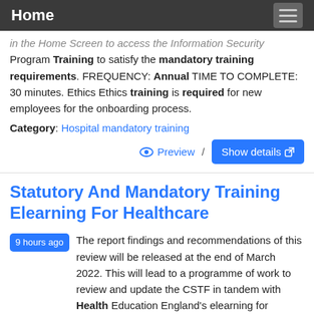Home
in the Home Screen to access the Information Security Program Training to satisfy the mandatory training requirements. FREQUENCY: Annual TIME TO COMPLETE: 30 minutes. Ethics Ethics training is required for new employees for the onboarding process.
Category: Hospital mandatory training
Preview / Show details
Statutory And Mandatory Training Elearning For Healthcare
9 hours ago The report findings and recommendations of this review will be released at the end of March 2022. This will lead to a programme of work to review and update the CSTF in tandem with Health Education England's elearning for healthcare (HEE elfh) Statutory and Mandatory Training programme.